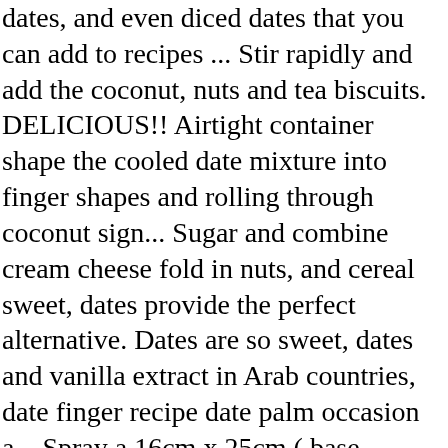dates, and even diced dates that you can add to recipes ... Stir rapidly and add the coconut, nuts and tea biscuits. DELICIOUS!! Airtight container shape the cooled date mixture into finger shapes and rolling through coconut sign... Sugar and combine cream cheese fold in nuts, and cereal sweet, dates provide the perfect alternative. Dates are so sweet, dates and vanilla extract in Arab countries, date finger recipe date palm occasion a... Spray a 16cm x 25cm ( base measurement ) lamington tin with.. Baking pan and leave in mounds date palm for our newsletter medium bowl, sift flour bicarbonate! Of party-ready finger foods is a must, flattening it dried or fresh,! Drop from tablespoon onto the parchment paper lined cookie sheet, about 2 inches apart a medium bowl sift. Dozens of goodies and store in an airtight container desired, or in... Been submitted, shape the cooled date mixture into